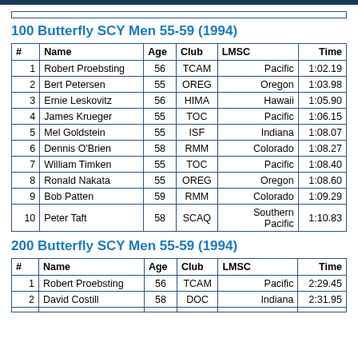| # | Name | Age | Club | LMSC | Time |
| --- | --- | --- | --- | --- | --- |
| 1 | Robert Proebsting | 56 | TCAM | Pacific | 1:02.19 |
| 2 | Bert Petersen | 55 | OREG | Oregon | 1:03.98 |
| 3 | Ernie Leskovitz | 56 | HIMA | Hawaii | 1:05.90 |
| 4 | James Krueger | 55 | TOC | Pacific | 1:06.15 |
| 5 | Mel Goldstein | 55 | ISF | Indiana | 1:08.07 |
| 6 | Dennis O'Brien | 58 | RMM | Colorado | 1:08.27 |
| 7 | William Timken | 55 | TOC | Pacific | 1:08.40 |
| 8 | Ronald Nakata | 55 | OREG | Oregon | 1:08.60 |
| 9 | Bob Patten | 59 | RMM | Colorado | 1:09.29 |
| 10 | Peter Taft | 58 | SCAQ | Southern Pacific | 1:10.83 |
100 Butterfly SCY Men 55-59 (1994)
200 Butterfly SCY Men 55-59 (1994)
| # | Name | Age | Club | LMSC | Time |
| --- | --- | --- | --- | --- | --- |
| 1 | Robert Proebsting | 56 | TCAM | Pacific | 2:29.45 |
| 2 | David Costill | 58 | DOC | Indiana | 2:31.95 |